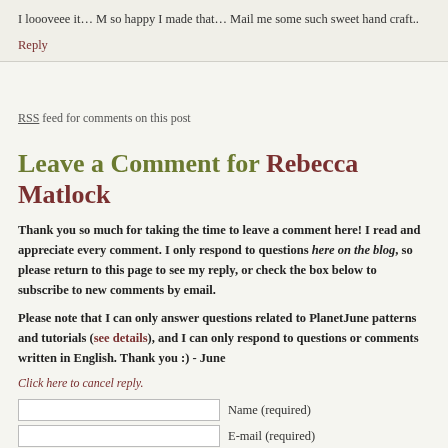I loooveee it… M so happy I made that… Mail me some such sweet hand craft..
Reply
RSS feed for comments on this post
Leave a Comment for Rebecca Matlock
Thank you so much for taking the time to leave a comment here! I read and appreciate every comment. I only respond to questions here on the blog, so please return to this page to see my reply, or check the box below to subscribe to new comments by email.
Please note that I can only answer questions related to PlanetJune patterns and tutorials (see details), and I can only respond to questions or comments written in English. Thank you :) - June
Click here to cancel reply.
Name (required)
E-mail (required)